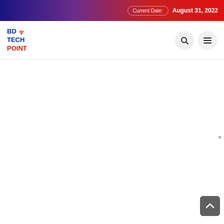Current Date: August 31, 2022
[Figure (logo): BD Tech Point logo with blue text and red wifi icon]
Current Date: August 31, 2022